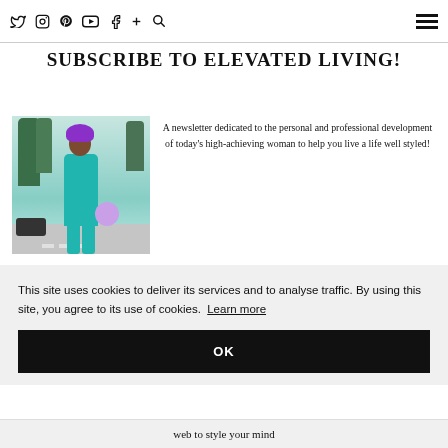Twitter Instagram Pinterest YouTube Facebook + Search [menu]
SUBSCRIBE TO ELEVATED LIVING!
[Figure (photo): Woman in teal/turquoise outfit with purple headwrap and matching bag, crossing a street with trees in background]
A newsletter dedicated to the personal and professional development of today's high-achieving woman to help you live a life well styled!
This site uses cookies to deliver its services and to analyse traffic. By using this site, you agree to its use of cookies. Learn more
OK
web to style your mind